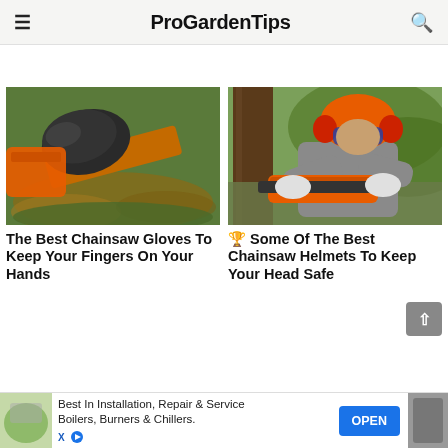ProGardenTips
[Figure (photo): Close-up of a gloved hand holding a chainsaw bar and chain among leaves and ground cover]
[Figure (photo): Person wearing orange safety helmet, ear muffs and goggles operating a chainsaw near a tree trunk]
The Best Chainsaw Gloves To Keep Your Fingers On Your Hands
🏆 Some Of The Best Chainsaw Helmets To Keep Your Head Safe
Best In Installation, Repair & Service Boilers, Burners & Chillers.